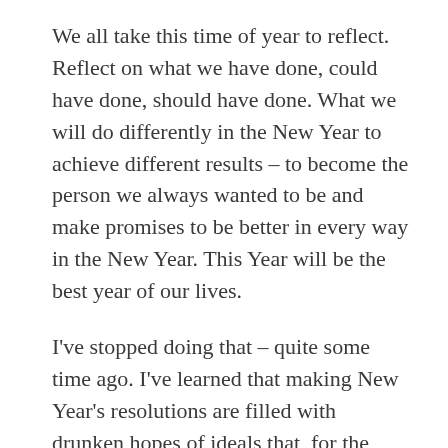We all take this time of year to reflect. Reflect on what we have done, could have done, should have done. What we will do differently in the New Year to achieve different results – to become the person we always wanted to be and make promises to be better in every way in the New Year. This Year will be the best year of our lives.
I've stopped doing that – quite some time ago. I've learned that making New Year's resolutions are filled with drunken hopes of ideals that, for the most part, never happen. Filled with wishes that never come true. Filled with high expectations that I can never live up to.
Now, I simply thank God. Thank Him for my blessings. And I have very many. I thank Him for my husband of